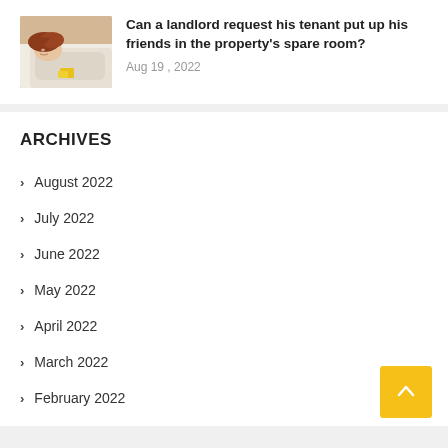[Figure (photo): Person lying in bed, sleeping or resting, with red hair, white bedding]
Can a landlord request his tenant put up his friends in the property's spare room?
Aug 19 , 2022
ARCHIVES
August 2022
July 2022
June 2022
May 2022
April 2022
March 2022
February 2022